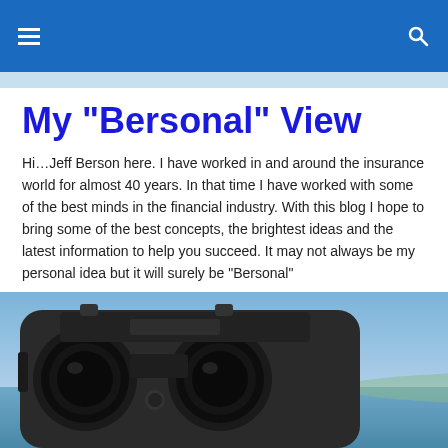My "Bersonal" View — navigation header
My "Bersonal" View
Hi…Jeff Berson here. I have worked in and around the insurance world for almost 40 years. In that time I have worked with some of the best minds in the financial industry. With this blog I hope to bring some of the best concepts, the brightest ideas and the latest information to help you succeed. It may not always be my personal idea but it will surely be "Bersonal"
[Figure (photo): Coin-operated binocular viewfinder against a blue sky and ocean horizon]
Top 10 reasons to sell fixed